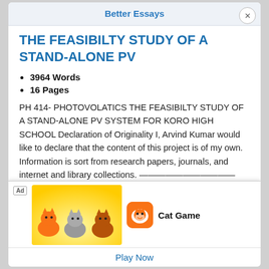Better Essays
THE FEASIBILTY STUDY OF A STAND-ALONE PV
3964 Words
16 Pages
PH 414- PHOTOVOLATICS THE FEASIBILTY STUDY OF A STAND-ALONE PV SYSTEM FOR KORO HIGH SCHOOL Declaration of Originality I, Arvind Kumar would like to declare that the content of this project is of my own. Information is sort from research papers, journals, and internet and library collections. ——————————— Arvind Kumar...
[Figure (infographic): Advertisement overlay for Cat Game mobile app, showing cartoon cats on yellow background, app icon, title 'Cat Game', and 'Play Now' button]